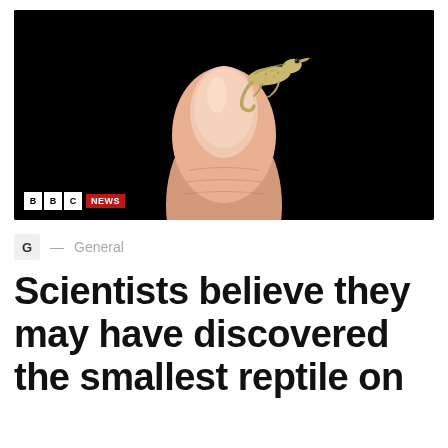[Figure (photo): A tiny chameleon perched on the tip of a human thumb/finger against a black background. BBC News logo visible in lower left corner of the photo.]
G — General
Scientists believe they may have discovered the smallest reptile on